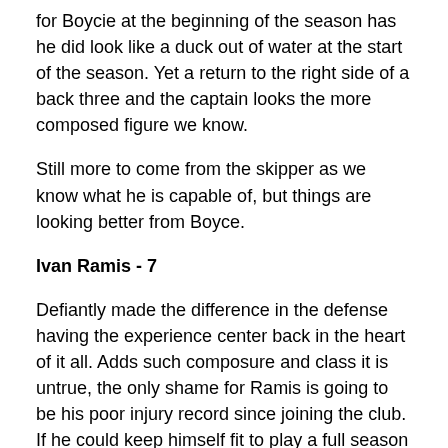for Boycie at the beginning of the season has he did look like a duck out of water at the start of the season. Yet a return to the right side of a back three and the captain looks the more composed figure we know.
Still more to come from the skipper as we know what he is capable of, but things are looking better from Boyce.
Ivan Ramis - 7
Defiantly made the difference in the defense having the experience center back in the heart of it all. Adds such composure and class it is untrue, the only shame for Ramis is going to be his poor injury record since joining the club. If he could keep himself fit to play a full season then he will be a rock for us at the back.